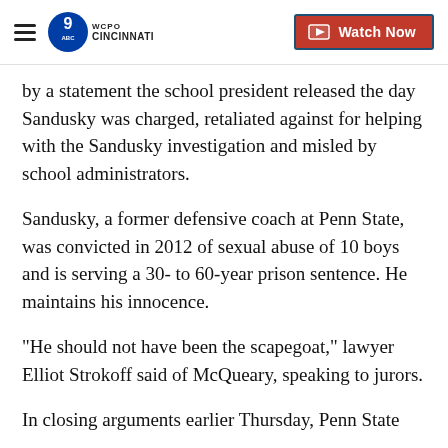WCPO CINCINNATI — Watch Now
by a statement the school president released the day Sandusky was charged, retaliated against for helping with the Sandusky investigation and misled by school administrators.
Sandusky, a former defensive coach at Penn State, was convicted in 2012 of sexual abuse of 10 boys and is serving a 30- to 60-year prison sentence. He maintains his innocence.
"He should not have been the scapegoat," lawyer Elliot Strokoff said of McQueary, speaking to jurors.
In closing arguments earlier Thursday, Penn State